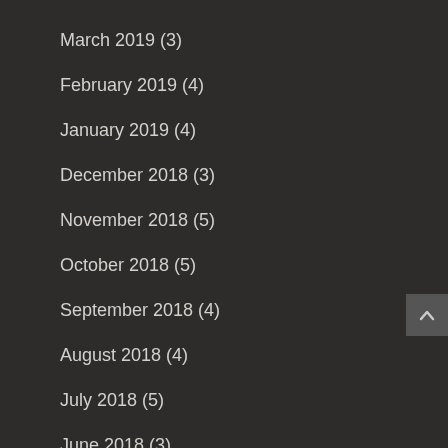March 2019 (3)
February 2019 (4)
January 2019 (4)
December 2018 (3)
November 2018 (5)
October 2018 (5)
September 2018 (4)
August 2018 (4)
July 2018 (5)
June 2018 (3)
May 2018 (4)